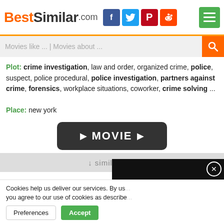BestSimilar.com
Movies like ... | Movies about ...
Plot: crime investigation, law and order, organized crime, police, suspect, police procedural, police investigation, partners against crime, forensics, workplace situations, coworker, crime solving ...
Place: new york
[Figure (other): Dark rounded button with play triangles and text MOVIE]
↓ similarity ↓
[Figure (other): Green Yes button with thumbs up icon and partially visible red No button]
[Figure (other): Black panel overlay with close button and chart icon]
Cookies help us deliver our services. By us... you agree to our use of cookies as describe...
Preferences | Accept